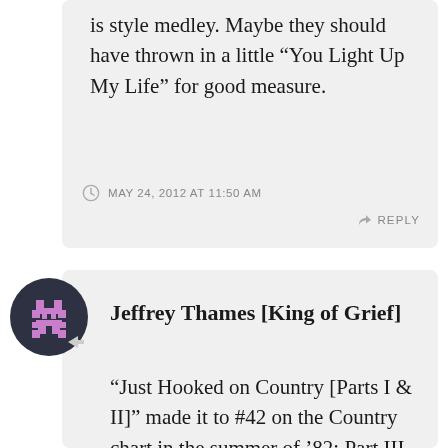is style medley. Maybe they should have thrown in a little “You Light Up My Life” for good measure.
MAY 24, 2012 AT 11:50 AM
REPLY
[Figure (illustration): Pixel art avatar: dark circle background with a pink/purple pixel alien/robot figure]
Jeffrey Thames [King of Grief]
“Just Hooked on Country [Parts I & II]” made it to #42 on the Country chart in the summer of ‘82; Part III